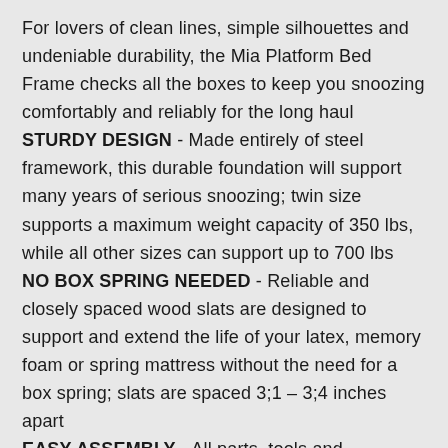For lovers of clean lines, simple silhouettes and undeniable durability, the Mia Platform Bed Frame checks all the boxes to keep you snoozing comfortably and reliably for the long haul
STURDY DESIGN - Made entirely of steel framework, this durable foundation will support many years of serious snoozing; twin size supports a maximum weight capacity of 350 lbs, while all other sizes can support up to 700 lbs
NO BOX SPRING NEEDED - Reliable and closely spaced wood slats are designed to support and extend the life of your latex, memory foam or spring mattress without the need for a box spring; slats are spaced 3;1 – 3;4 inches apart
EASY ASSEMBLY - All parts, tools and instructions are shipped straight to your door in one efficiently packed box for simple set-up that takes less than an